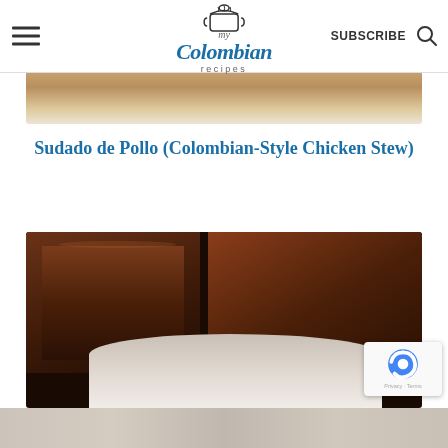my Colombian recipes — SUBSCRIBE
[Figure (photo): Partial top image of Colombian chicken stew in a bowl, cropped at top]
Sudado de Pollo (Colombian-Style Chicken Stew)
[Figure (photo): Close-up photo of a dark chocolate dessert with white cream/sauce on a plate]
[Figure (photo): Bottom strip showing blurred light-colored liquid or sauce]